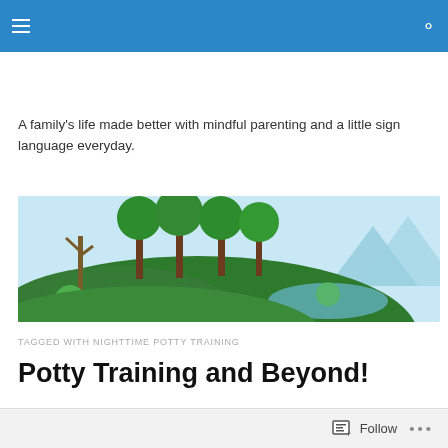A family's life made better with mindful parenting and a little sign language everyday.
[Figure (illustration): Illustrated banner showing cartoon trees on a green hill with mountains and a light blue sky in the background]
TAGGED WITH NIGHTTIME POTTY TRAINING
Potty Training and Beyond!
Oh, potty training.
Follow ...